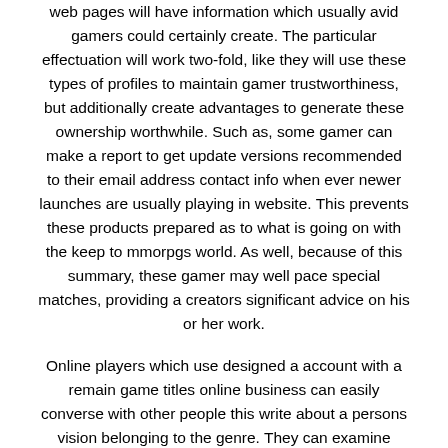web pages will have information which usually avid gamers could certainly create. The particular effectuation will work two-fold, like they will use these types of profiles to maintain gamer trustworthiness, but additionally create advantages to generate these ownership worthwhile. Such as, some gamer can make a report to get update versions recommended to their email address contact info when ever newer launches are usually playing in website. This prevents these products prepared as to what is going on with the keep to mmorpgs world. As well, because of this summary, these gamer may well pace special matches, providing a creators significant advice on his or her work.
Online players which use designed a account with a remain game titles online business can easily converse with other people this write about a persons vision belonging to the genre. They can examine adventures which has been produced or are rumored to stay in development. Glorified forums or simply forums in many cases are recent, which inturn might be a beneficial tool any time giving out strategies. Whenever a residential district is normally created to